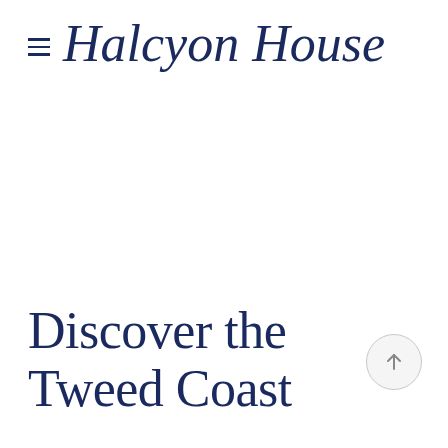≡  Halcyon House
Discover the Tweed Coast